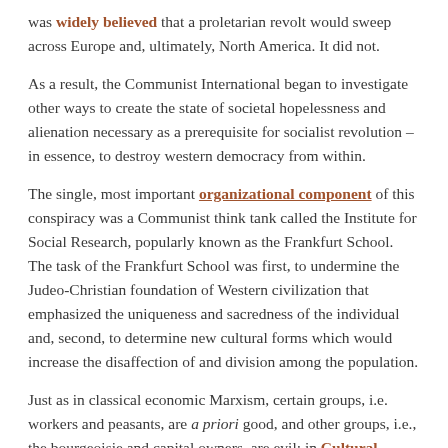was widely believed that a proletarian revolt would sweep across Europe and, ultimately, North America. It did not.
As a result, the Communist International began to investigate other ways to create the state of societal hopelessness and alienation necessary as a prerequisite for socialist revolution – in essence, to destroy western democracy from within.
The single, most important organizational component of this conspiracy was a Communist think tank called the Institute for Social Research, popularly known as the Frankfurt School. The task of the Frankfurt School was first, to undermine the Judeo-Christian foundation of Western civilization that emphasized the uniqueness and sacredness of the individual and, second, to determine new cultural forms which would increase the disaffection of and division among the population.
Just as in classical economic Marxism, certain groups, i.e. workers and peasants, are a priori good, and other groups, i.e., the bourgeoisie and capital owners, are evil; in Cultural Marxism, certain groups are also inherently good and others are...